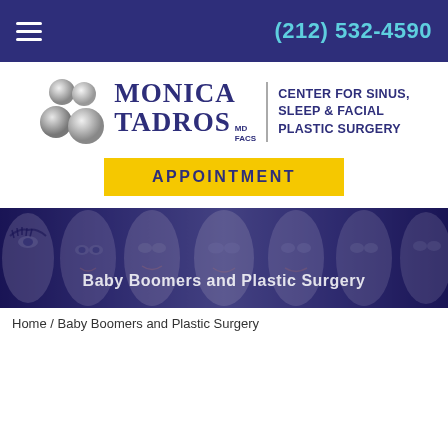(212) 532-4590
[Figure (logo): Monica Tadros MD FACS — Center for Sinus, Sleep & Facial Plastic Surgery logo with pearl graphic]
APPOINTMENT
[Figure (photo): Banner strip of close-up facial photos of multiple patients with a dark blue/purple overlay tint]
Baby Boomers and Plastic Surgery
Baby Boomers and Plastic Surgery